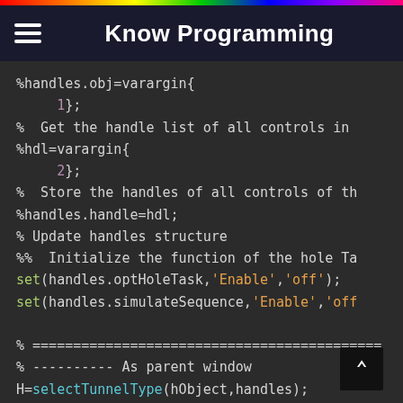Know Programming
[Figure (screenshot): Code editor screenshot showing MATLAB/Octave code with dark theme. Code includes: %handles.obj=varargin{1}; % Get the handle list of all controls in %hdl=varargin{2}; % Store the handles of all controls of th %handles.handle=hdl; % Update handles structure %% Initialize the function of the hole Ta set(handles.optHoleTask,'Enable','off'); set(handles.simulateSequence,'Enable','off % ============================================== % ---------- As parent window H=selectTunnelType(hObject,handles); handles.tunnelType=H; % Add toolbar]